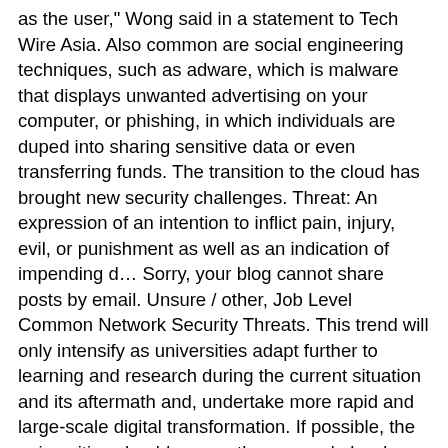as the user," Wong said in a statement to Tech Wire Asia. Also common are social engineering techniques, such as adware, which is malware that displays unwanted advertising on your computer, or phishing, in which individuals are duped into sharing sensitive data or even transferring funds. The transition to the cloud has brought new security challenges. Threat: An expression of an intention to inflict pain, injury, evil, or punishment as well as an indication of impending d… Sorry, your blog cannot share posts by email. Unsure / other, Job Level Common Network Security Threats. This trend will only intensify as universities adapt further to learning and research during the current situation and its aftermath and, undertake more rapid and large-scale digital transformation. If possible, the universities should ensure they upgrade hardware routinely every few years. Since passwords are one of the biggest points of vulnerability, one of the simplest yet most effective way to ward off attacks is simply to create strong passwords which you change often. This article is published in association with KPMG. In order to keep up the best practices of cybersecurity, each member of staff should be educated on new updates and the importance of habits such as regularly changing passwords, and knowing how to spot things such as phishing emails. Cyber criminals are after those exact glitches, the little security holes in the vulnerable software you use that can be exploited for malicious purposes. Protecting business data is a growing challenge but awareness is the first step. Understanding the evolving landscape can help educating this situation and others of their security best